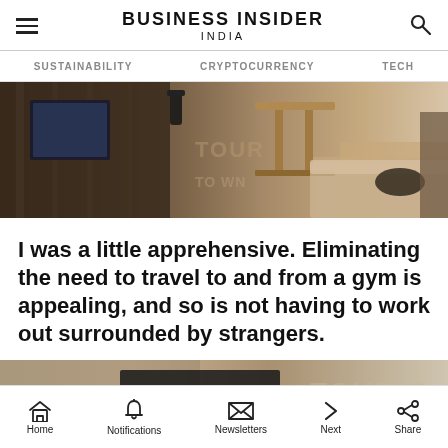BUSINESS INSIDER INDIA
SUSTAINABILITY   CRYPTOCURRENCY   TECH
[Figure (photo): Interior of a gym or fitness studio space with wood paneling, a tall table with bar stools, and a sofa seating area visible through glass]
I was a little apprehensive. Eliminating the need to travel to and from a gym is appealing, and so is not having to work out surrounded by strangers.
[Figure (photo): Partial view of gym interior with Tour logo visible on wall]
Home   Notifications   Newsletters   Next   Share